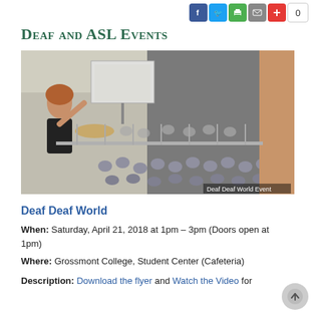[Figure (other): Social sharing buttons: Facebook (blue), Twitter (light blue), Print (green), Mail (gray), Plus (red), and a count box showing 0]
Deaf and ASL Events
[Figure (photo): A woman signing ASL on a balcony above a large crowd of students seated in a college student center atrium. Caption reads: Deaf Deaf World Event]
Deaf Deaf World
When: Saturday, April 21, 2018 at 1pm – 3pm (Doors open at 1pm)
Where: Grossmont College, Student Center (Cafeteria)
Description: Download the flyer and Watch the Video for